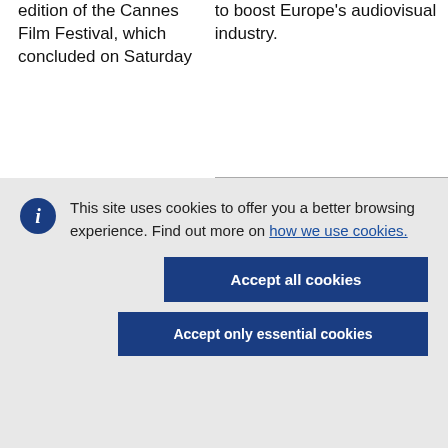edition of the Cannes Film Festival, which concluded on Saturday
to boost Europe's audiovisual industry.
This site uses cookies to offer you a better browsing experience. Find out more on how we use cookies.
Accept all cookies
Accept only essential cookies